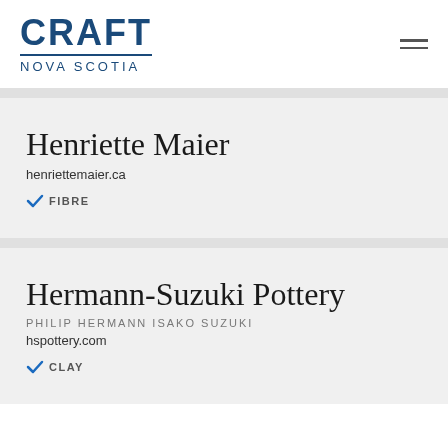CRAFT NOVA SCOTIA
Henriette Maier
henriettemaier.ca
✓ FIBRE
Hermann-Suzuki Pottery
PHILIP HERMANN ISAKO SUZUKI
hspottery.com
✓ CLAY